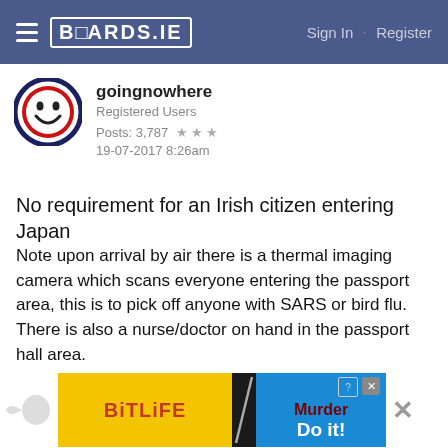BOARDS.IE   Sign In · Register
[Figure (screenshot): Boards.ie forum post by user goingnowhere with avatar (red smiley face on white circle with dark blue border). Username: goingnowhere, Registered Users, Posts: 3,787, 3 stars, 19-07-2017 8:26am]
No requirement for an Irish citizen entering Japan
Note upon arrival by air there is a thermal imaging camera which scans everyone entering the passport area, this is to pick off anyone with SARS or bird flu. There is also a nurse/doctor on hand in the passport hall area.
[Figure (screenshot): Second forum user row: Hana98, Registered Users, with yellow smiley avatar]
[Figure (screenshot): Advertisement banner: BitLife game ad with Murder / Do it! text]